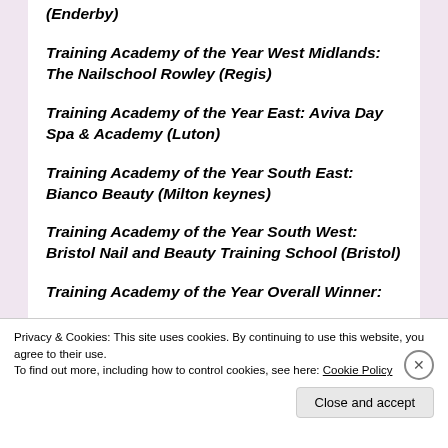(Enderby)
Training Academy of the Year West Midlands: The Nailschool Rowley (Regis)
Training Academy of the Year East: Aviva Day Spa & Academy (Luton)
Training Academy of the Year South East: Bianco Beauty (Milton keynes)
Training Academy of the Year South West: Bristol Nail and Beauty Training School (Bristol)
Training Academy of the Year Overall Winner:
Privacy & Cookies: This site uses cookies. By continuing to use this website, you agree to their use. To find out more, including how to control cookies, see here: Cookie Policy